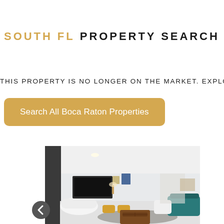SOUTH FL PROPERTY SEARCH
THIS PROPERTY IS NO LONGER ON THE MARKET. EXPLORE
Search All Boca Raton Properties
[Figure (photo): Interior photo of a modern bright open-plan living room with white furniture, a dark wood coffee table with luggage, a rug, yellow ottomans, and a TV on the wall.]